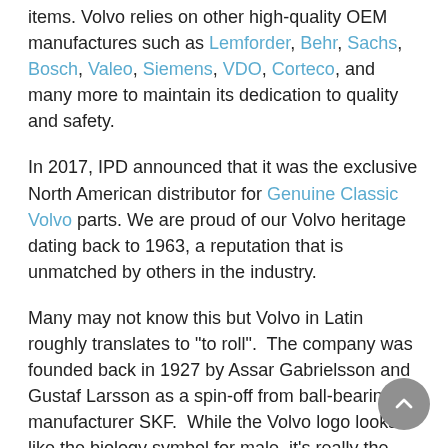items. Volvo relies on other high-quality OEM manufactures such as Lemforder, Behr, Sachs, Bosch, Valeo, Siemens, VDO, Corteco, and many more to maintain its dedication to quality and safety.
In 2017, IPD announced that it was the exclusive North American distributor for Genuine Classic Volvo parts. We are proud of our Volvo heritage dating back to 1963, a reputation that is unmatched by others in the industry.
Many may not know this but Volvo in Latin roughly translates to "to roll".  The company was founded back in 1927 by Assar Gabrielsson and Gustaf Larsson as a spin-off from ball-bearing manufacturer SKF.  While the Volvo logo looks like the biology symbol for male, it's really the Swedish symbol for Iron. With a nod to its heritage in alloys, Volvo chose a logo that depicted a ring bisecting at one o'clock. Today